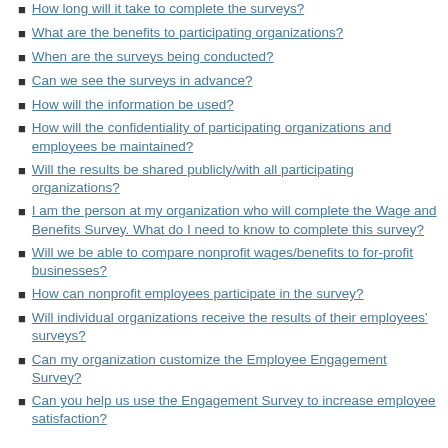How long will it take to complete the surveys?
What are the benefits to participating organizations?
When are the surveys being conducted?
Can we see the surveys in advance?
How will the information be used?
How will the confidentiality of participating organizations and employees be maintained?
Will the results be shared publicly/with all participating organizations?
I am the person at my organization who will complete the Wage and Benefits Survey. What do I need to know to complete this survey?
Will we be able to compare nonprofit wages/benefits to for-profit businesses?
How can nonprofit employees participate in the survey?
Will individual organizations receive the results of their employees' surveys?
Can my organization customize the Employee Engagement Survey?
Can you help us use the Engagement Survey to increase employee satisfaction?